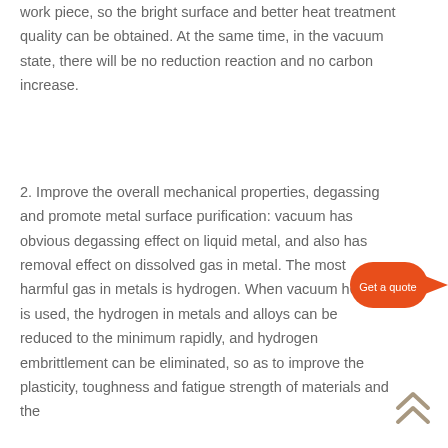work piece, so the bright surface and better heat treatment quality can be obtained. At the same time, in the vacuum state, there will be no reduction reaction and no carbon increase.
2. Improve the overall mechanical properties, degassing and promote metal surface purification: vacuum has obvious degassing effect on liquid metal, and also has removal effect on dissolved gas in metal. The most harmful gas in metals is hydrogen. When vacuum heating is used, the hydrogen in metals and alloys can be reduced to the minimum rapidly, and hydrogen embrittlement can be eliminated, so as to improve the plasticity, toughness and fatigue strength of materials and the
[Figure (infographic): A 'Get a quote' call-to-action widget consisting of an orange pill-shaped button with white text 'Get a quote' pointing right with a triangular arrow, connected to an orange circle containing a white envelope/email icon.]
[Figure (infographic): Double upward-pointing chevron arrows in a tan/beige color, serving as a scroll-to-top button in the bottom right corner.]